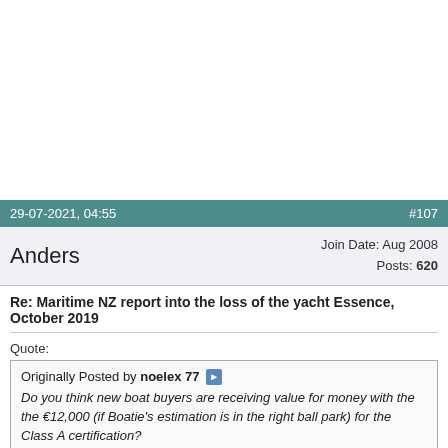29-07-2021, 04:55   #107
Anders   Join Date: Aug 2008  Posts: 620
Re: Maritime NZ report into the loss of the yacht Essence, October 2019
Quote:
Originally Posted by noelex 77
Do you think new boat buyers are receiving value for money with the the €12,000 (if Boatie's estimation is in the right ball park) for the Class A certification?
Think his estimate is to low for a real post construction assessment but that is not relevant to new boats.